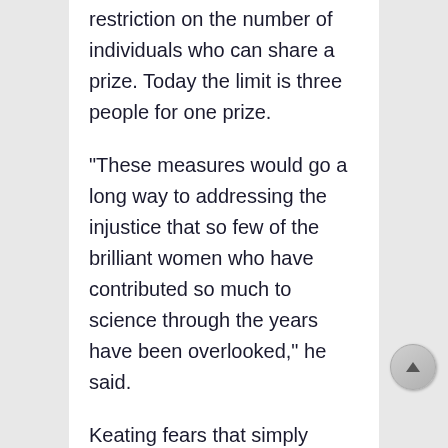restriction on the number of individuals who can share a prize. Today the limit is three people for one prize.
“These measures would go a long way to addressing the injustice that so few of the brilliant women who have contributed so much to science through the years have been overlooked,” he said.
Keating fears that simply accepting the disparity as structural will seriously harm the prestige of all the